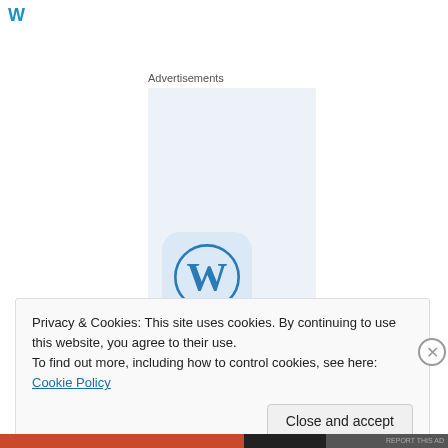[Figure (logo): Partial blue logo/text visible at top left]
Advertisements
[Figure (illustration): Light blue advertisement placeholder box with WordPress logo icon (blue W in circle with rounded square background) in the lower portion]
Privacy & Cookies: This site uses cookies. By continuing to use this website, you agree to their use.
To find out more, including how to control cookies, see here: Cookie Policy
Close and accept